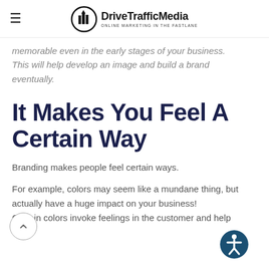DriveTrafficMedia — ONLINE MARKETING IN THE FASTLANE
memorable even in the early stages of your business. This will help develop an image and build a brand eventually.
It Makes You Feel A Certain Way
Branding makes people feel certain ways.
For example, colors may seem like a mundane thing, but actually have a huge impact on your business! Certain colors invoke feelings in the customer and help